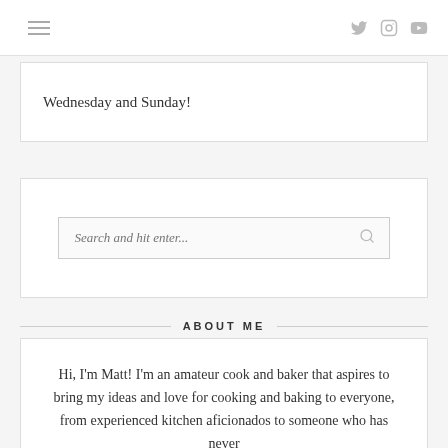Navigation bar with hamburger menu and social icons (Twitter, Instagram, YouTube)
Wednesday and Sunday!
[Figure (other): Search box with placeholder text 'Search and hit enter...' and a search icon]
ABOUT ME
Hi, I'm Matt! I'm an amateur cook and baker that aspires to bring my ideas and love for cooking and baking to everyone, from experienced kitchen aficionados to someone who has never